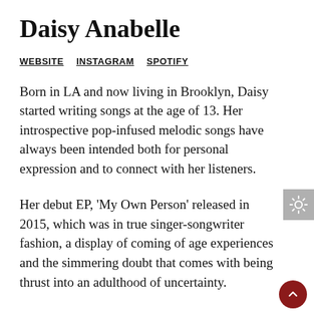Daisy Anabelle
WEBSITE   INSTAGRAM   SPOTIFY
Born in LA and now living in Brooklyn, Daisy started writing songs at the age of 13. Her introspective pop-infused melodic songs have always been intended both for personal expression and to connect with her listeners.
Her debut EP, 'My Own Person' released in 2015, which was in true singer-songwriter fashion, a display of coming of age experiences and the simmering doubt that comes with being thrust into an adulthood of uncertainty.